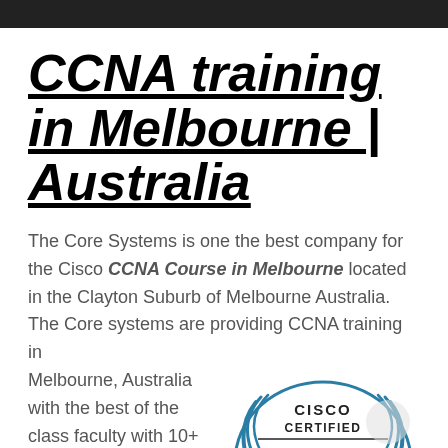CCNA training in Melbourne | Australia
The Core Systems is one the best company for the Cisco CCNA Course in Melbourne located in the Clayton Suburb of Melbourne Australia. The Core systems are providing CCNA training in Melbourne, Australia with the best of the class faculty with 10+ years of experience
[Figure (logo): Cisco Certified CCNA badge/logo — circular laurel wreath design with 'CISCO CERTIFIED' at top, 'CCNA' in large letters in center, and 'ROUTING...' at bottom]